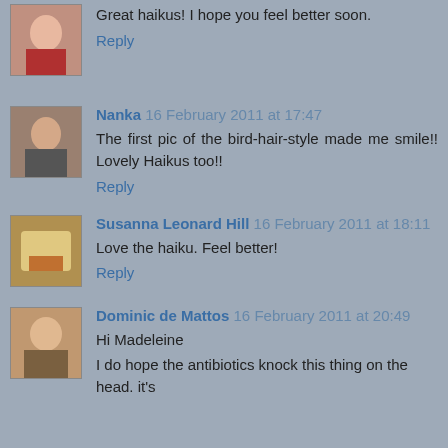Great haikus! I hope you feel better soon.
Reply
Nanka 16 February 2011 at 17:47
The first pic of the bird-hair-style made me smile!! Lovely Haikus too!!
Reply
Susanna Leonard Hill 16 February 2011 at 18:11
Love the haiku. Feel better!
Reply
Dominic de Mattos 16 February 2011 at 20:49
Hi Madeleine
I do hope the antibiotics knock this thing on the head. it's